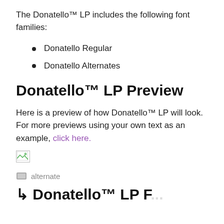The Donatello™ LP includes the following font families:
Donatello Regular
Donatello Alternates
Donatello™ LP Preview
Here is a preview of how Donatello™ LP will look. For more previews using your own text as an example, click here.
[Figure (other): Broken/missing image placeholder]
alternate
Donatello™ LP F...